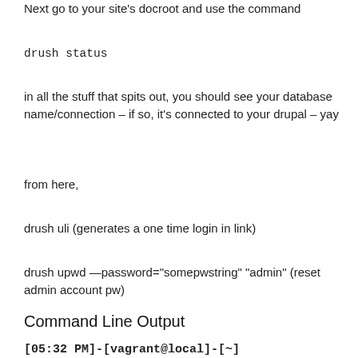Next go to your site's docroot and use the command
drush status
in all the stuff that spits out, you should see your database name/connection – if so, it's connected to your drupal – yay
from here,
drush uli (generates a one time login in link)
drush upwd —password="somepwstring" "admin" (reset admin account pw)
Command Line Output
[05:32 PM]-[vagrant@local]-[~]